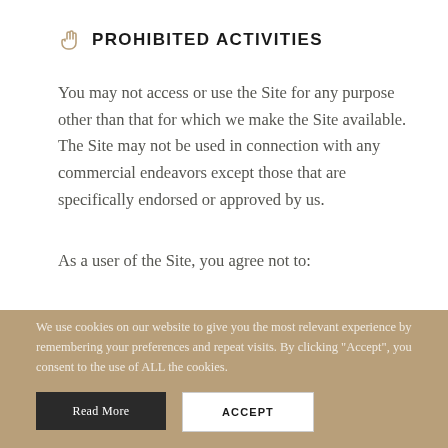PROHIBITED ACTIVITIES
You may not access or use the Site for any purpose other than that for which we make the Site available. The Site may not be used in connection with any commercial endeavors except those that are specifically endorsed or approved by us.
As a user of the Site, you agree not to:
We use cookies on our website to give you the most relevant experience by remembering your preferences and repeat visits. By clicking “Accept”, you consent to the use of ALL the cookies.